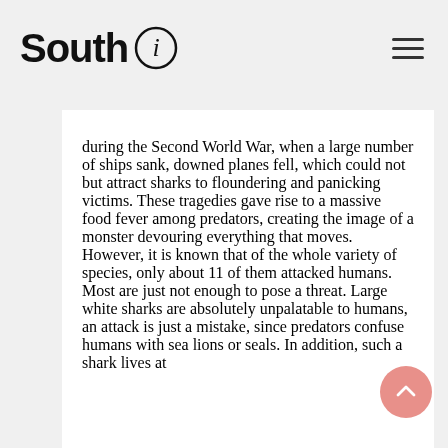South i
during the Second World War, when a large number of ships sank, downed planes fell, which could not but attract sharks to floundering and panicking victims. These tragedies gave rise to a massive food fever among predators, creating the image of a monster devouring everything that moves. However, it is known that of the whole variety of species, only about 11 of them attacked humans. Most are just not enough to pose a threat. Large white sharks are absolutely unpalatable to humans, an attack is just a mistake, since predators confuse humans with sea lions or seals. In addition, such a shark lives at